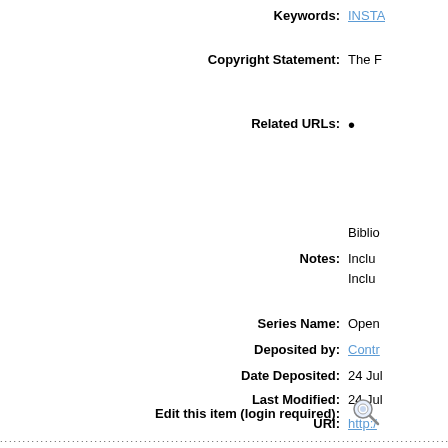Keywords: INSTA...
Copyright Statement: The F...
Related URLs: •
Biblio...
Notes: Inclu... Inclu...
Series Name: Open...
Deposited by: Contr...
Date Deposited: 24 Jul...
Last Modified: 24 Jul...
URI: http:/...
Edit this item (login required):
.....................................................................................